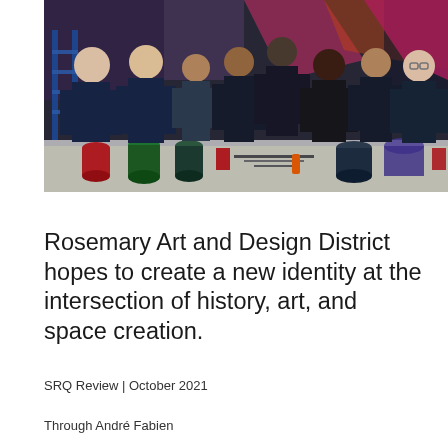[Figure (photo): Group photo of approximately 8 people standing together in front of a colorful mural, wearing dark navy t-shirts. In front of them is a table covered with paint cans, brushes, and art supplies. The setting appears to be an outdoor or open-air space at night.]
Rosemary Art and Design District hopes to create a new identity at the intersection of history, art, and space creation.
SRQ Review | October 2021
Through André Fabien